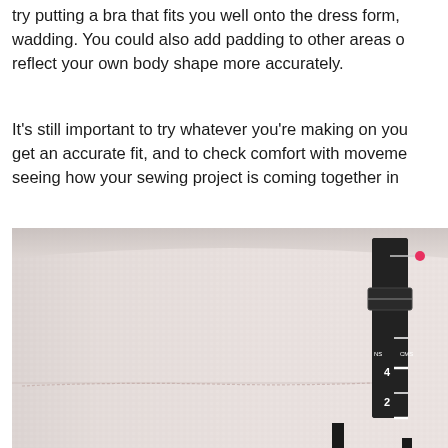try putting a bra that fits you well onto the dress form, wadding. You could also add padding to other areas o reflect your own body shape more accurately.
It's still important to try whatever you're making on you get an accurate fit, and to check comfort with moveme seeing how your sewing project is coming together in
[Figure (photo): Close-up photo of a white fabric dress form with a black hem gauge/marking tool pressed against it. The tool has measurement markings visible including numbers 2, 4, and a pink/red pin at the top. The fabric shows a faint horizontal stitched line marking.]